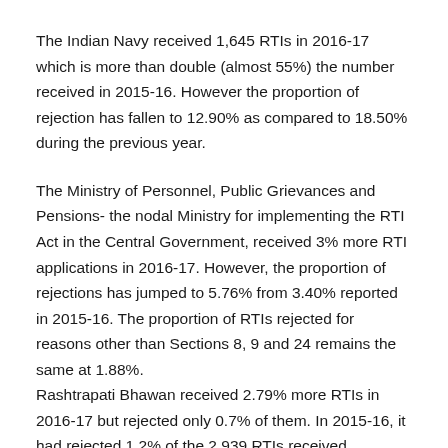The Indian Navy received 1,645 RTIs in 2016-17 which is more than double (almost 55%) the number received in 2015-16. However the proportion of rejection has fallen to 12.90% as compared to 18.50% during the previous year.
The Ministry of Personnel, Public Grievances and Pensions- the nodal Ministry for implementing the RTI Act in the Central Government, received 3% more RTI applications in 2016-17. However, the proportion of rejections has jumped to 5.76% from 3.40% reported in 2015-16. The proportion of RTIs rejected for reasons other than Sections 8, 9 and 24 remains the same at 1.88%.
Rashtrapati Bhawan received 2.79% more RTIs in 2016-17 but rejected only 0.7% of them. In 2015-16, it had rejected 1.2% of the 2,939 RTIs received.
The Comptroller and Auditor General of India received more